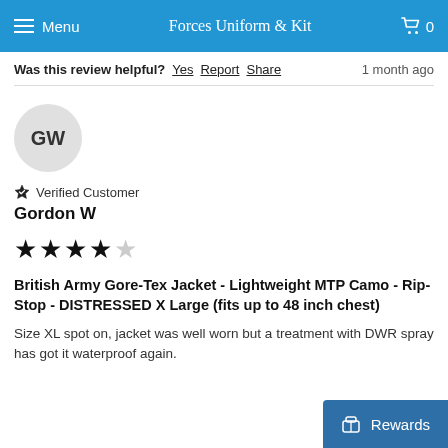Forces Uniform & Kit
Was this review helpful? Yes  Report  Share  1 month ago
[Figure (illustration): Circular grey avatar with initials GW]
Verified Customer
Gordon W
★★★★☆ (4 out of 5 stars)
British Army Gore-Tex Jacket - Lightweight MTP Camo - Rip-Stop - DISTRESSED X Large (fits up to 48 inch chest)
Size XL spot on, jacket was well worn but a treatment with DWR spray has got it waterproof again.